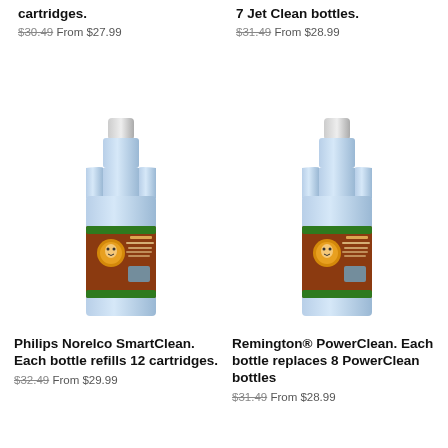cartridges.
$30.49 From $27.99
7 Jet Clean bottles.
$31.49 From $28.99
[Figure (photo): Bottle of Philips Norelco SmartClean cleaning solution, large blue spray bottle with brown label featuring a character logo]
Philips Norelco SmartClean. Each bottle refills 12 cartridges.
$32.49 From $29.99
[Figure (photo): Bottle of Remington PowerClean cleaning solution, large blue spray bottle with brown label featuring a character logo]
Remington® PowerClean. Each bottle replaces 8 PowerClean bottles
$31.49 From $28.99